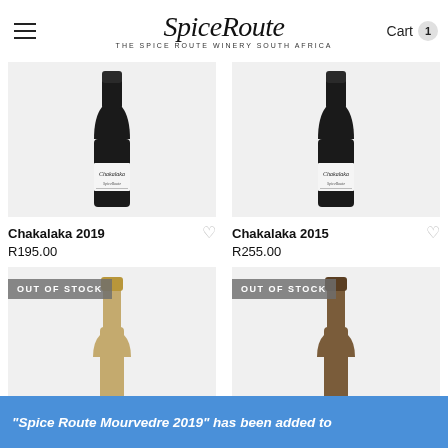SpiceRoute — THE SPICE ROUTE WINERY SOUTH AFRICA | Cart 1
[Figure (illustration): Wine bottle product image for Chakalaka 2019 — dark glass bottle with white label reading 'Chakalaka' and 'Spice Route']
Chakalaka 2019
R195.00
[Figure (illustration): Wine bottle product image for Chakalaka 2015 — dark glass bottle with white label reading 'Chakalaka' and 'Spice Route']
Chakalaka 2015
R255.00
[Figure (illustration): Wine bottle top visible — gold/champagne colored foil capsule, OUT OF STOCK badge overlay]
[Figure (illustration): Wine bottle top visible — dark brown foil capsule, OUT OF STOCK badge overlay]
"Spice Route Mourvedre 2019" has been added to